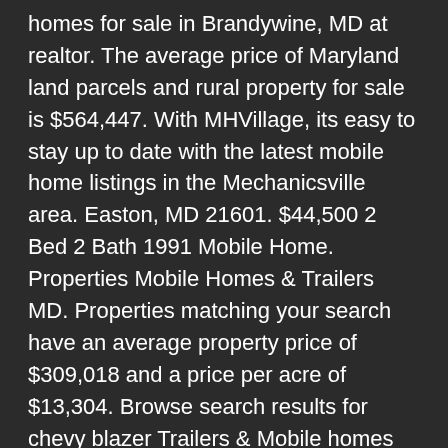homes for sale in Brandywine, MD at realtor. The average price of Maryland land parcels and rural property for sale is $564,447. With MHVillage, its easy to stay up to date with the latest mobile home listings in the Mechanicsville area. Easton, MD 21601. $44,500 2 Bed 2 Bath 1991 Mobile Home. Properties Mobile Homes & Trailers MD. Properties matching your search have an average property price of $309,018 and a price per acre of $13,304. Browse search results for chevy blazer Trailers & Mobile homes for sale in Hurlock, MD. com has 63 Mobile Homes for Sale near Frederick, MD. Chesapeake Mobile Homes is the mid-Atlantic's oldest and largest manufactured home company. Newly Listed. House Under Contract.Pennsylvania, and Delaware Oct 24, 2021 · On Point2, you'll find 373 farms for sale in Maryland, with prices ranging from $10,000 to $8,500,000. Lothian homes for sale range from $49K - $1.Pennsylvania, and Delaware We can provide you with